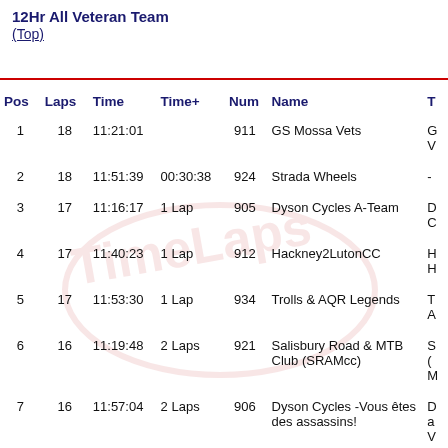12Hr All Veteran Team
(Top)
| Pos | Laps | Time | Time+ | Num | Name | T |
| --- | --- | --- | --- | --- | --- | --- |
| 1 | 18 | 11:21:01 |  | 911 | GS Mossa Vets | G V |
| 2 | 18 | 11:51:39 | 00:30:38 | 924 | Strada Wheels | - |
| 3 | 17 | 11:16:17 | 1 Lap | 905 | Dyson Cycles A-Team | D C |
| 4 | 17 | 11:40:23 | 1 Lap | 912 | Hackney2LutonCC | H H |
| 5 | 17 | 11:53:30 | 1 Lap | 934 | Trolls & AQR Legends | T A |
| 6 | 16 | 11:19:48 | 2 Laps | 921 | Salisbury Road & MTB Club (SRAMcc) | S ( M |
| 7 | 16 | 11:57:04 | 2 Laps | 906 | Dyson Cycles -Vous êtes des assassins! | D a V |